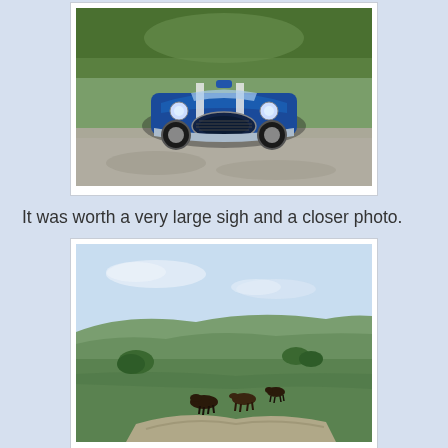[Figure (photo): Front view of a blue sports car (Cobra-style roadster) with white racing stripes, parked on a shaded driveway under trees.]
It was worth a very large sigh and a closer photo.
[Figure (photo): Dartmoor landscape with rolling green hills, open moorland, a pale blue sky, and ponies or horses grazing in the foreground.]
Dartmoor is only about 14 miles away from Soggibottom. I did say we lived right at the bottom of the hill.